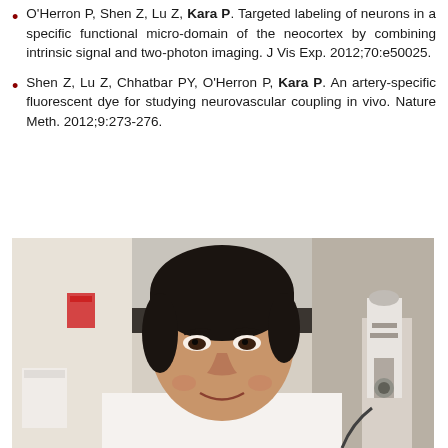O'Herron P, Shen Z, Lu Z, Kara P. Targeted labeling of neurons in a specific functional micro-domain of the neocortex by combining intrinsic signal and two-photon imaging. J Vis Exp. 2012;70:e50025.
Shen Z, Lu Z, Chhatbar PY, O'Herron P, Kara P. An artery-specific fluorescent dye for studying neurovascular coupling in vivo. Nature Meth. 2012;9:273-276.
[Figure (photo): Photograph of a man (presumably Dr. Kara) in a laboratory setting, smiling at the camera, with lab equipment including a microscope visible in the background.]